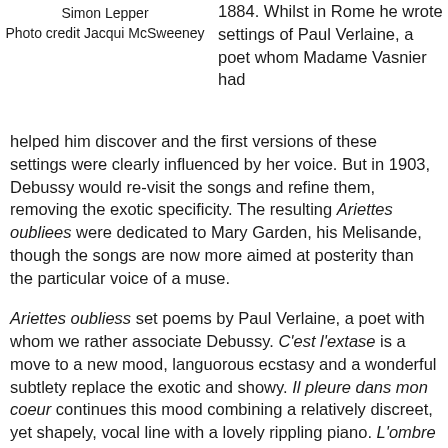Simon Lepper
Photo credit Jacqui McSweeney
1884. Whilst in Rome he wrote settings of Paul Verlaine, a poet whom Madame Vasnier had helped him discover and the first versions of these settings were clearly influenced by her voice. But in 1903, Debussy would re-visit the songs and refine them, removing the exotic specificity. The resulting Ariettes oubliees were dedicated to Mary Garden, his Melisande, though the songs are now more aimed at posterity than the particular voice of a muse.
Ariettes oubliess set poems by Paul Verlaine, a poet with whom we rather associate Debussy. C'est l'extase is a move to a new mood, languorous ecstasy and a wonderful subtlety replace the exotic and showy. Il pleure dans mon coeur continues this mood combining a relatively discreet, yet shapely, vocal line with a lovely rippling piano. L'ombre des arbres is darkly subtle in the piano, and the vocal line is flexible and recitative like. Here were are a lot closer to Melisande than we are to Madame Vasnier, though in fact the voice type needed is quite close, it is simply what Debussy does with it which has become more mysterious and difficult. She must also be able to be controlled, but with